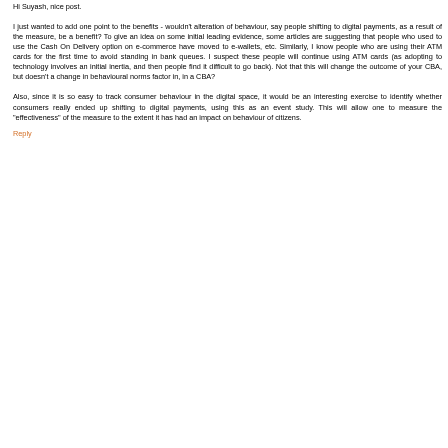Hi Suyash, nice post.
I just wanted to add one point to the benefits - wouldn't alteration of behaviour, say people shifting to digital payments, as a result of the measure, be a benefit? To give an idea on some initial leading evidence, some articles are suggesting that people who used to use the Cash On Delivery option on e-commerce have moved to e-wallets, etc. Similarly, I know people who are using their ATM cards for the first time to avoid standing in bank queues. I suspect these people will continue using ATM cards (as adopting to technology involves an initial inertia, and then people find it difficult to go back). Not that this will change the outcome of your CBA, but doesn't a change in behavioural norms factor in, in a CBA?
Also, since it is so easy to track consumer behaviour in the digital space, it would be an interesting exercise to identify whether consumers really ended up shifting to digital payments, using this as an event study. This will allow one to measure the "effectiveness" of the measure to the extent it has had an impact on behaviour of citizens.
Reply